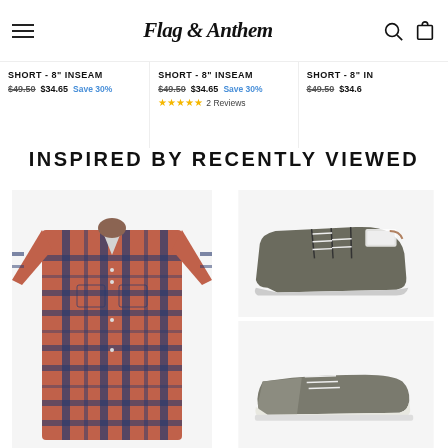Flag & Anthem — navigation header
SHORT - 8" INSEAM $49.50 $34.65 Save 30%
SHORT - 8" INSEAM $49.50 $34.65 Save 30% ★★★★★ 2 Reviews
SHORT - 8" IN $49.50 $34.6
INSPIRED BY RECENTLY VIEWED
[Figure (photo): Man wearing a red and navy plaid flannel shirt]
[Figure (photo): Two gray suede/leather shoes: a chukka boot on top and a low-top sneaker on bottom]